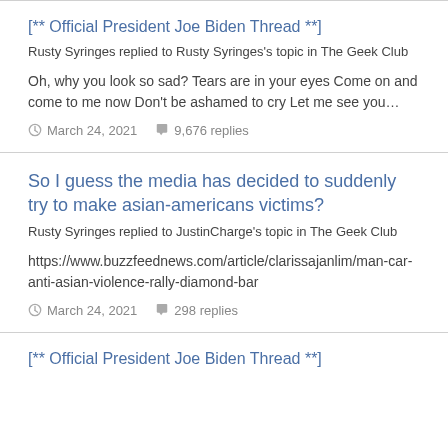[** Official President Joe Biden Thread **]
Rusty Syringes replied to Rusty Syringes's topic in The Geek Club
Oh, why you look so sad? Tears are in your eyes Come on and come to me now Don't be ashamed to cry Let me see you…
March 24, 2021   9,676 replies
So I guess the media has decided to suddenly try to make asian-americans victims?
Rusty Syringes replied to JustinCharge's topic in The Geek Club
https://www.buzzfeednews.com/article/clarissajanlim/man-car-anti-asian-violence-rally-diamond-bar
March 24, 2021   298 replies
[** Official President Joe Biden Thread **]